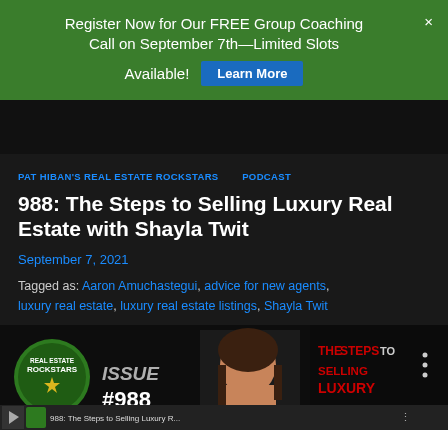Register Now for Our FREE Group Coaching Call on September 7th—Limited Slots Available! [Learn More]
PAT HIBAN'S REAL ESTATE ROCKSTARS  PODCAST
988: The Steps to Selling Luxury Real Estate with Shayla Twit
September 7, 2021
Tagged as: Aaron Amuchastegui, advice for new agents, luxury real estate, luxury real estate listings, Shayla Twit
[Figure (screenshot): Podcast episode thumbnail showing Real Estate Rockstars logo, issue #988 text, a woman's photo, and red text reading 'THE STEPS TO SELLING LUXURY'. A media player bar shows '988: The Steps to Selling Luxury R...']